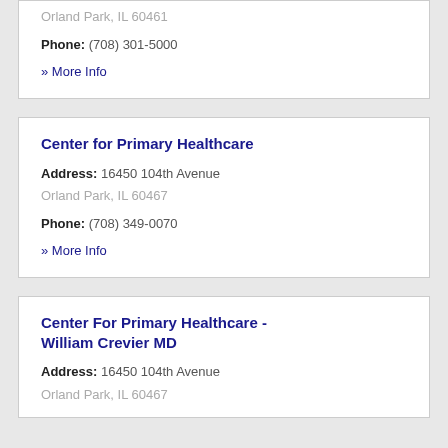Orland Park, IL 60461
Phone: (708) 301-5000
» More Info
Center for Primary Healthcare
Address: 16450 104th Avenue Orland Park, IL 60467
Phone: (708) 349-0070
» More Info
Center For Primary Healthcare - William Crevier MD
Address: 16450 104th Avenue Orland Park, IL 60467